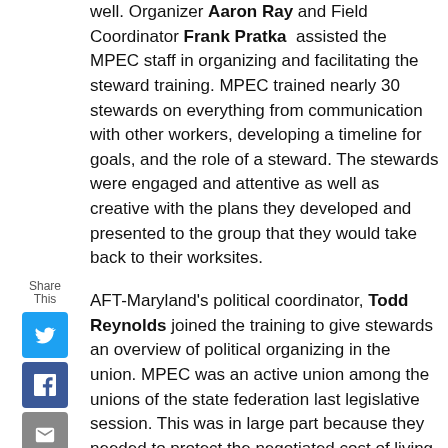well. Organizer Aaron Ray and Field Coordinator Frank Pratka assisted the MPEC staff in organizing and facilitating the steward training. MPEC trained nearly 30 stewards on everything from communication with other workers, developing a timeline for goals, and the role of a steward. The stewards were engaged and attentive as well as creative with the plans they developed and presented to the group that they would take back to their worksites.
AFT-Maryland's political coordinator, Todd Reynolds joined the training to give stewards an overview of political organizing in the union. MPEC was an active union among the unions of the state federation last legislative session. This was in large part because they needed to protect the negotiated cost of living adjustment (COLA) increase, which the union did. Members will receive a COLA increase in July of 2019.